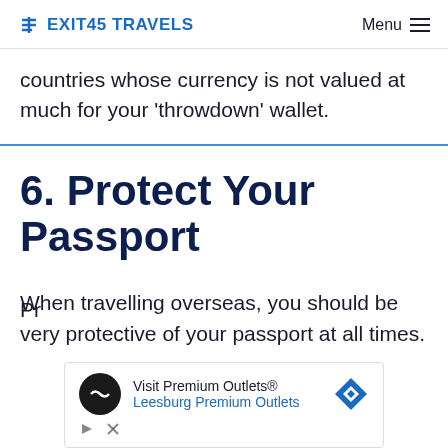Exit45 Travels   Menu
countries whose currency is not valued at much for your 'throwdown' wallet.
6. Protect Your Passport
When travelling overseas, you should be very protective of your passport at all times.
[Figure (other): Advertisement banner for Visit Premium Outlets® / Leesburg Premium Outlets with circular logo and navigation icon]